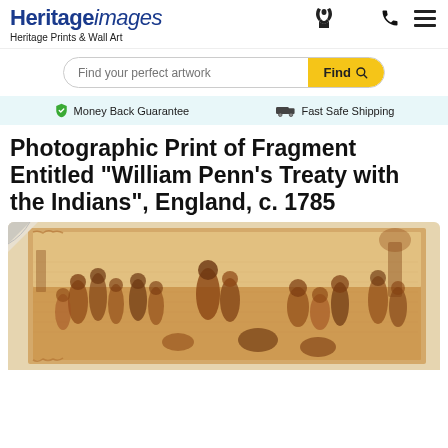Heritage images — Heritage Prints & Wall Art
Find your perfect artwork — Find
Money Back Guarantee   Fast Safe Shipping
Photographic Print of Fragment Entitled "William Penn's Treaty with the Indians", England, c. 1785
[Figure (photo): Photographic print of a historical textile or print fragment depicting a crowd scene titled 'William Penn's Treaty with the Indians', England, c. 1785. The image shows a sepia/red-brown engraving-style print of many figures in period dress, some appearing to be European colonists and some Indigenous people, in a treaty scene.]